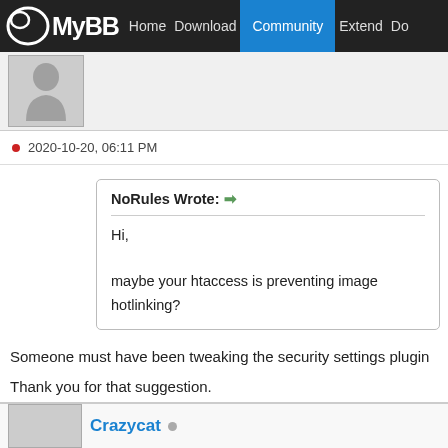MyBB Home Download Community Extend Do
[Figure (screenshot): User avatar placeholder (grey silhouette figure)]
2020-10-20, 06:11 PM
NoRules Wrote: Hi, maybe your htaccess is preventing image hotlinking?
Someone must have been tweaking the security settings plugin
Thank you for that suggestion.
Find
Crazycat